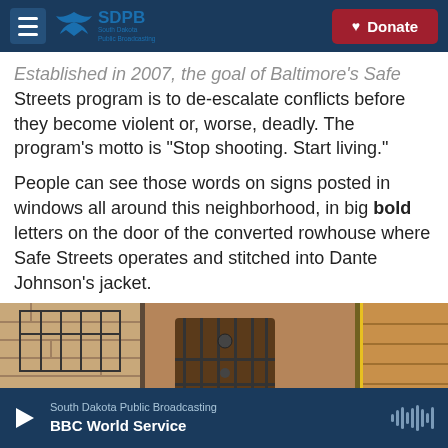SDPB South Dakota Public Broadcasting | Donate
Established in 2007, the goal of Baltimore's Safe Streets program is to de-escalate conflicts before they become violent or, worse, deadly. The program's motto is "Stop shooting. Start living."
People can see those words on signs posted in windows all around this neighborhood, in big bold letters on the door of the converted rowhouse where Safe Streets operates and stitched into Dante Johnson's jacket.
[Figure (photo): Exterior photo of a rowhouse entrance with barred doors and brick walls]
South Dakota Public Broadcasting | BBC World Service